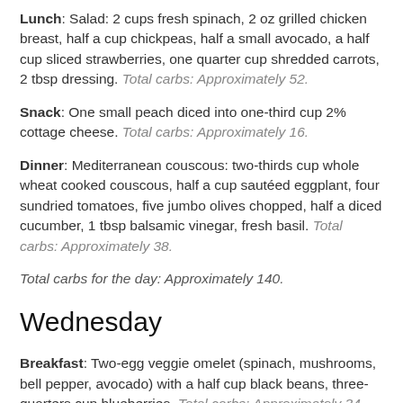Lunch: Salad: 2 cups fresh spinach, 2 oz grilled chicken breast, half a cup chickpeas, half a small avocado, a half cup sliced strawberries, one quarter cup shredded carrots, 2 tbsp dressing. Total carbs: Approximately 52.
Snack: One small peach diced into one-third cup 2% cottage cheese. Total carbs: Approximately 16.
Dinner: Mediterranean couscous: two-thirds cup whole wheat cooked couscous, half a cup sautéed eggplant, four sundried tomatoes, five jumbo olives chopped, half a diced cucumber, 1 tbsp balsamic vinegar, fresh basil. Total carbs: Approximately 38.
Total carbs for the day: Approximately 140.
Wednesday
Breakfast: Two-egg veggie omelet (spinach, mushrooms, bell pepper, avocado) with a half cup black beans, three-quarters cup blueberries. Total carbs: Approximately 34.
Lunch: Sandwich: two regular slices high-fiber whole grain bread, 1 tbsp plain, no-fat Greek yogurt and 1 tbsp mustard, 2 oz canned tuna in water mixed with a quarter cup of shredded carrots, 1 tbsp